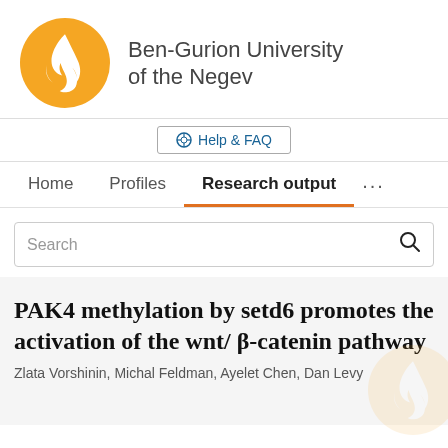[Figure (logo): Ben-Gurion University of the Negev logo: orange circle with white flame/torch symbol, next to university name in dark gray text]
Help & FAQ
Home   Profiles   Research output   ...
Search
PAK4 methylation by setd6 promotes the activation of the wnt/β-catenin pathway
Zlata Vorshinin, Michal Feldman, Ayelet Chen, Dan Levy